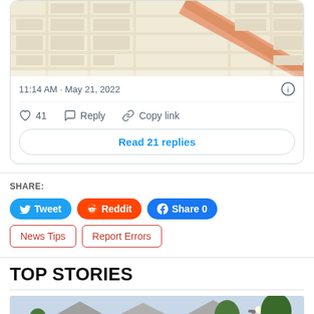[Figure (map): Street map showing a neighborhood with roads, intersections, and city blocks in a light yellow/beige color scheme with a prominent orange/red diagonal road.]
11:14 AM · May 21, 2022
♡ 41   Reply   Copy link
Read 21 replies
SHARE:
Tweet
Reddit
Share 0
News Tips
Report Errors
TOP STORIES
[Figure (photo): Photo showing white vans parked in front of suburban houses with trees and a street lamp.]